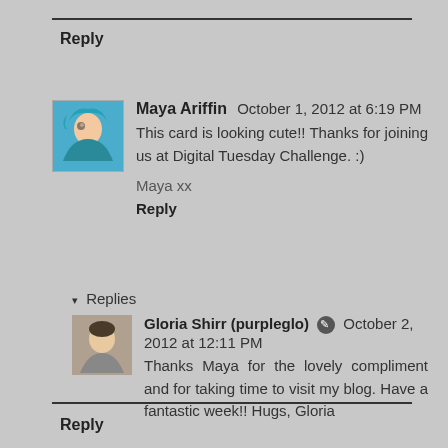Reply
Maya Ariffin  October 1, 2012 at 6:19 PM
This card is looking cute!! Thanks for joining us at Digital Tuesday Challenge. :)
Maya xx
Reply
Replies
Gloria Shirr (purpleglo)  October 2, 2012 at 12:11 PM
Thanks Maya for the lovely compliment and for taking time to visit my blog. Have a fantastic week!! Hugs, Gloria
Reply